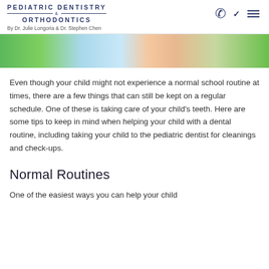PEDIATRIC DENTISTRY & ORTHODONTICS By Dr. Julie Longoria & Dr. Stephen Chen
[Figure (photo): Partial photo of a child smiling, with a blue patterned top and green background, cropped at the top]
Even though your child might not experience a normal school routine at times, there are a few things that can still be kept on a regular schedule. One of these is taking care of your child's teeth. Here are some tips to keep in mind when helping your child with a dental routine, including taking your child to the pediatric dentist for cleanings and check-ups.
Normal Routines
One of the easiest ways you can help your child